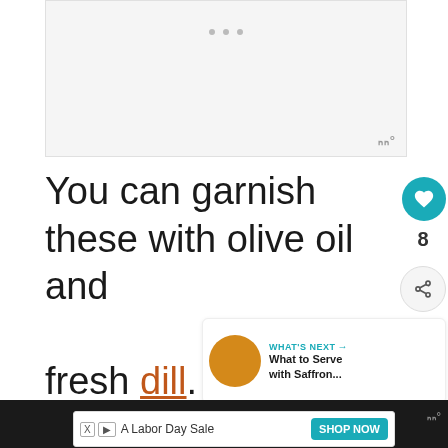[Figure (photo): Image placeholder with three dots indicating a slideshow/carousel image area, with WW logo watermark in bottom right]
You can garnish these with olive oil and fresh dill.
[Figure (infographic): What's Next panel showing a saffron dish thumbnail with link text 'What to Serve with Saffron...']
[Figure (screenshot): Advertisement banner at bottom reading 'A Labor Day Sale' with SHOP NOW button on dark background]